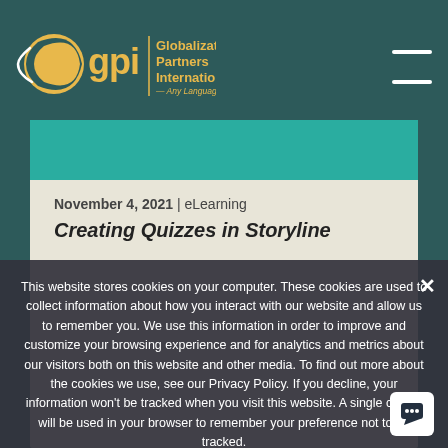[Figure (logo): GPI Globalization Partners International logo with globe icon and tagline 'Any Language. Any Locale.']
November 4, 2021 | eLearning
Creating Quizzes in Storyline
This website stores cookies on your computer. These cookies are used to collect information about how you interact with our website and allow us to remember you. We use this information in order to improve and customize your browsing experience and for analytics and metrics about our visitors both on this website and other media. To find out more about the cookies we use, see our Privacy Policy. If you decline, your information won't be tracked when you visit this website. A single cookie will be used in your browser to remember your preference not to be tracked.
Accept | Decline | Privacy policy